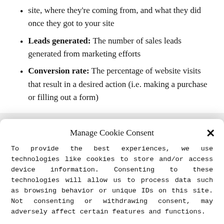site, where they're coming from, and what they did once they got to your site
Leads generated: The number of sales leads generated from marketing efforts
Conversion rate: The percentage of website visits that result in a desired action (i.e. making a purchase or filling out a form)
Manage Cookie Consent
To provide the best experiences, we use technologies like cookies to store and/or access device information. Consenting to these technologies will allow us to process data such as browsing behavior or unique IDs on this site. Not consenting or withdrawing consent, may adversely affect certain features and functions.
Accept
Cookie Policy  Privacy Statement  Imprint